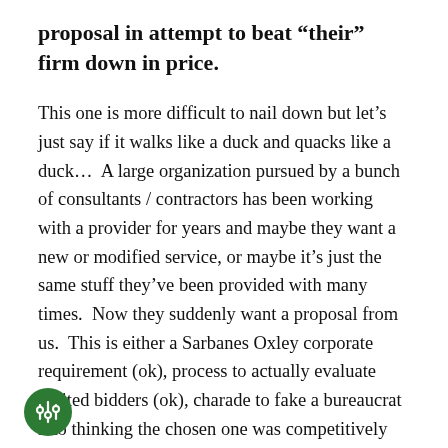proposal in attempt to beat “their” firm down in price.
This one is more difficult to nail down but let’s just say if it walks like a duck and quacks like a duck…  A large organization pursued by a bunch of consultants / contractors has been working with a provider for years and maybe they want a new or modified service, or maybe it’s just the same stuff they’ve been provided with many times.  Now they suddenly want a proposal from us.  This is either a Sarbanes Oxley corporate requirement (ok), process to actually evaluate invited bidders (ok), charade to fake a bureaucrat into thinking the chosen one was competitively selected